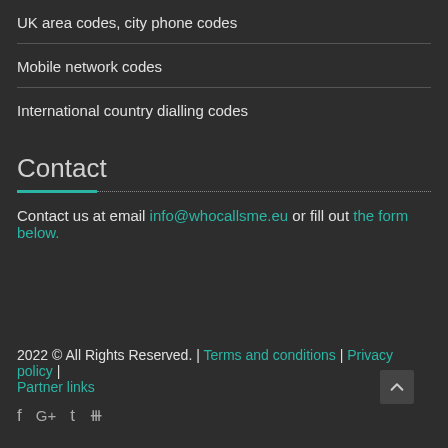UK area codes, city phone codes
Mobile network codes
International country dialling codes
Contact
Contact us at email info@whocallsme.eu or fill out the form below.
2022 © All Rights Reserved. | Terms and conditions | Privacy policy | Partner links